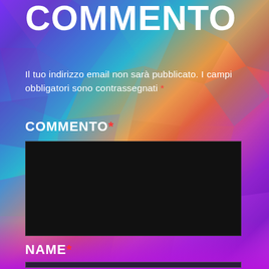COMMENTO
Il tuo indirizzo email non sarà pubblicato. I campi obbligatori sono contrassegnati *
COMMENTO*
[Figure (other): Dark black textarea input field for comment entry]
NAME*
[Figure (other): Dark text input field for name entry (partially visible at bottom)]